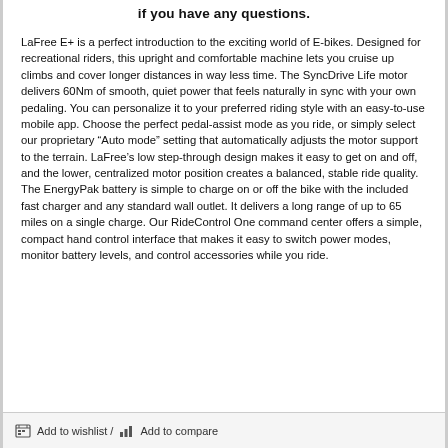if you have any questions.
LaFree E+ is a perfect introduction to the exciting world of E-bikes. Designed for recreational riders, this upright and comfortable machine lets you cruise up climbs and cover longer distances in way less time. The SyncDrive Life motor delivers 60Nm of smooth, quiet power that feels naturally in sync with your own pedaling. You can personalize it to your preferred riding style with an easy-to-use mobile app. Choose the perfect pedal-assist mode as you ride, or simply select our proprietary “Auto mode” setting that automatically adjusts the motor support to the terrain. LaFree’s low step-through design makes it easy to get on and off, and the lower, centralized motor position creates a balanced, stable ride quality. The EnergyPak battery is simple to charge on or off the bike with the included fast charger and any standard wall outlet. It delivers a long range of up to 65 miles on a single charge. Our RideControl One command center offers a simple, compact hand control interface that makes it easy to switch power modes, monitor battery levels, and control accessories while you ride.
Add to wishlist / Add to compare